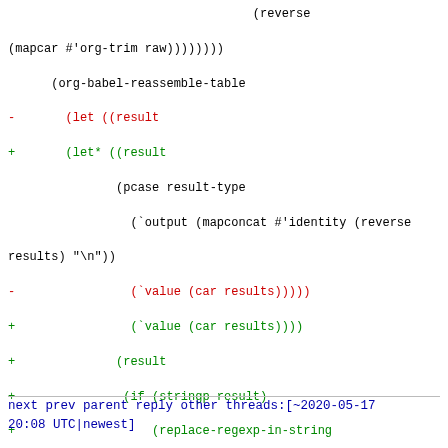(reverse
(mapcar #'org-trim raw))))))))
      (org-babel-reassemble-table
-       (let ((result
+       (let* ((result
               (pcase result-type
                 (`output (mapconcat #'identity (reverse
results) "\n"))
-                (`value (car results)))))
+                (`value (car results))))
+              (result
+               (if (stringp result)
+                   (replace-regexp-in-string
"Prelude[|>] " "" result)
+                result)))
         (org-babel-result-cond (cdr (assq :result-
params params))
-           result (org-babel-script-escape result)))
+           result (if (stringp result) (org-babel-script-
escape result))))
        (org-babel-pick-name (cdr (assq :colname-names
params))
                              (cdr (assq :colname-names
params)))
        (org-babel-pick-name (cdr (assq :rowname-names
params))
next prev parent reply   other threads:[~2020-05-17
20:08 UTC|newest]